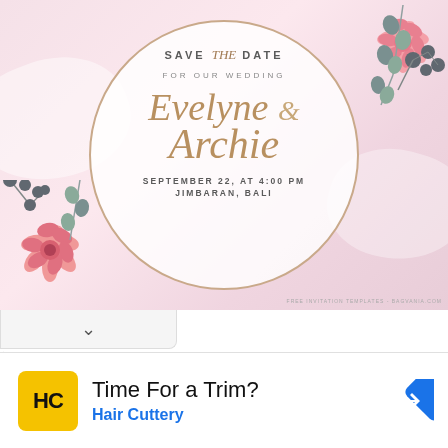[Figure (illustration): Wedding Save the Date invitation card with pink floral decoration (dahlia flowers and eucalyptus), a circular frame, gold script names 'Evelyne & Archie', event details September 22 at 4:00 PM, Jimbaran, Bali. Background is blush pink with abstract watercolor shapes.]
Time For a Trim?
Hair Cuttery